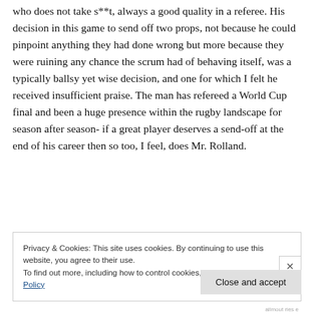who does not take s**t, always a good quality in a referee. His decision in this game to send off two props, not because he could pinpoint anything they had done wrong but more because they were ruining any chance the scrum had of behaving itself, was a typically ballsy yet wise decision, and one for which I felt he received insufficient praise. The man has refereed a World Cup final and been a huge presence within the rugby landscape for season after season- if a great player deserves a send-off at the end of his career then so too, I feel, does Mr. Rolland.
Privacy & Cookies: This site uses cookies. By continuing to use this website, you agree to their use.
To find out more, including how to control cookies, see here: Cookie Policy